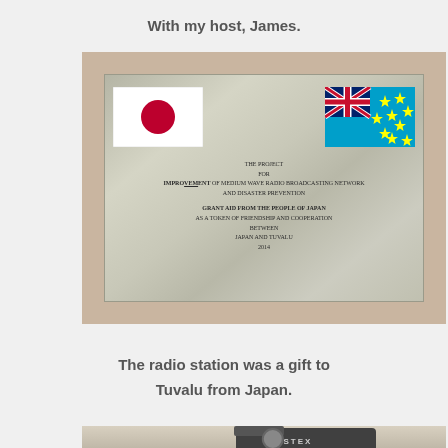With my host, James.
[Figure (photo): A commemorative metal plaque on a textured wall showing the Japanese flag and Tuvalu flag, with text about the Project for Improvement of Medium Wave Radio Broadcasting Network and Disaster Prevention, Grant Aid from the People of Japan as a token of friendship and cooperation between Japan and Tuvalu, 2014.]
The radio station was a gift to Tuvalu from Japan.
[Figure (photo): Partial view of a Fostex audio device on a table.]